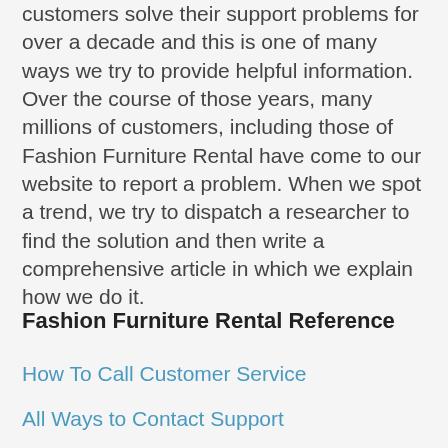customers solve their support problems for over a decade and this is one of many ways we try to provide helpful information. Over the course of those years, many millions of customers, including those of Fashion Furniture Rental have come to our website to report a problem. When we spot a trend, we try to dispatch a researcher to find the solution and then write a comprehensive article in which we explain how we do it.
Fashion Furniture Rental Reference
How To Call Customer Service
All Ways to Contact Support